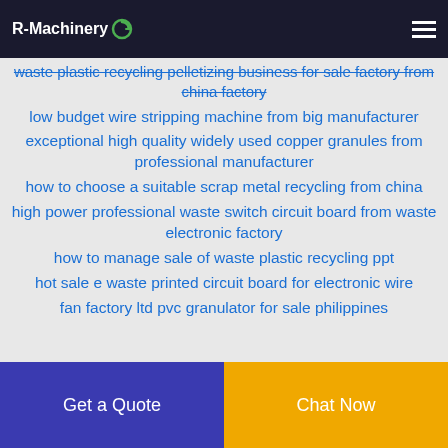R-Machinery
waste plastic recycling pelletizing business for sale factory from china factory
low budget wire stripping machine from big manufacturer
exceptional high quality widely used copper granules from professional manufacturer
how to choose a suitable scrap metal recycling from china
high power professional waste switch circuit board from waste electronic factory
how to manage sale of waste plastic recycling ppt
hot sale e waste printed circuit board for electronic wire
fan factory ltd pvc granulator for sale philippines
Get a Quote   Chat Now